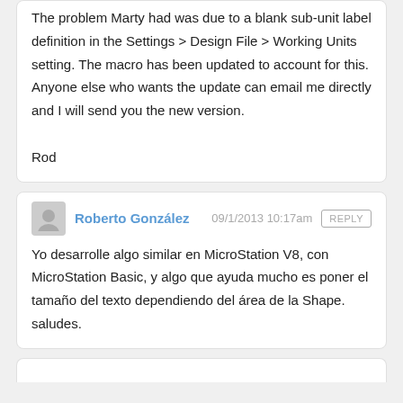The problem Marty had was due to a blank sub-unit label definition in the Settings > Design File > Working Units setting. The macro has been updated to account for this. Anyone else who wants the update can email me directly and I will send you the new version.

Rod
Roberto González  09/1/2013 10:17am
Yo desarrolle algo similar en MicroStation V8, con MicroStation Basic, y algo que ayuda mucho es poner el tamaño del texto dependiendo del área de la Shape. saludes.